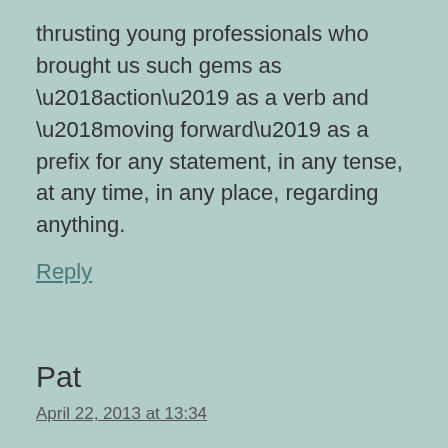thrusting young professionals who brought us such gems as ‘action’ as a verb and ‘moving forward’ as a prefix for any statement, in any tense, at any time, in any place, regarding anything.
Reply
Pat
April 22, 2013 at 13:34
I thought I was the only one bothered by the use of did connect as a noun. I am glad to